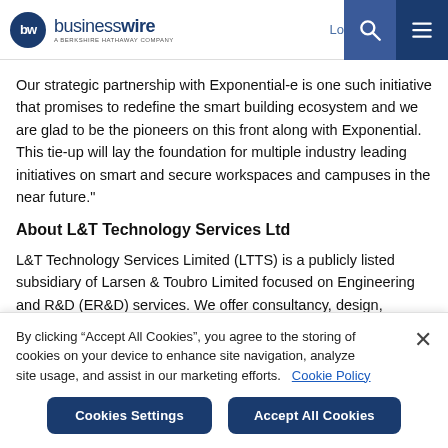businesswire – A BERKSHIRE HATHAWAY COMPANY | Log In | Sign Up
Our strategic partnership with Exponential-e is one such initiative that promises to redefine the smart building ecosystem and we are glad to be the pioneers on this front along with Exponential. This tie-up will lay the foundation for multiple industry leading initiatives on smart and secure workspaces and campuses in the near future."
About L&T Technology Services Ltd
L&T Technology Services Limited (LTTS) is a publicly listed subsidiary of Larsen & Toubro Limited focused on Engineering and R&D (ER&D) services. We offer consultancy, design, development
By clicking “Accept All Cookies”, you agree to the storing of cookies on your device to enhance site navigation, analyze site usage, and assist in our marketing efforts.   Cookie Policy
Cookies Settings | Accept All Cookies